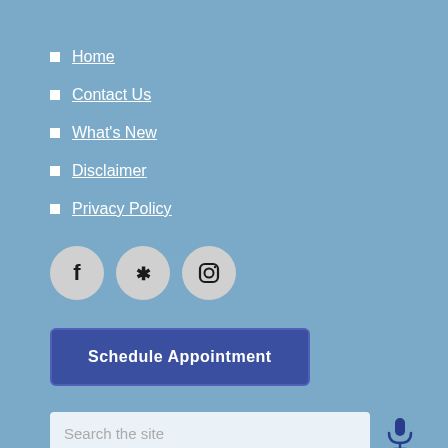Home
Contact Us
What's New
Disclaimer
Privacy Policy
[Figure (infographic): Three social media icon circles: Facebook, Yelp, Instagram]
Schedule Appointment
Search the site